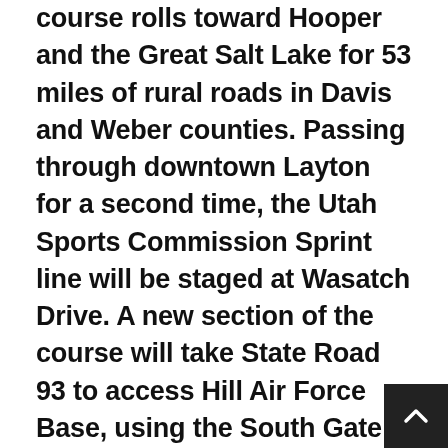course rolls toward Hooper and the Great Salt Lake for 53 miles of rural roads in Davis and Weber counties. Passing through downtown Layton for a second time, the Utah Sports Commission Sprint line will be staged at Wasatch Drive. A new section of the course will take State Road 93 to access Hill Air Force Base, using the South Gate Entrance, for the first time. The military base is the home of the F-16 and F-35 fighter jets, and provides worldwide engineering and logistics management for the F-16 Fighting Falcon, A-10 Thunderbolt II, and Minuteman III intercontinental ballistic missile. The route will follow Foulois Road to Wardleigh Road on the base, exiting near the Hill Aerospace Museum, the largest museum west of the Mississippi